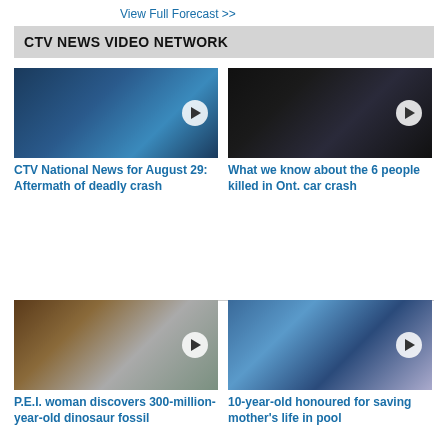View Full Forecast >>
CTV NEWS VIDEO NETWORK
[Figure (screenshot): Video thumbnail: female news anchor in white blazer at news desk, blue studio background]
CTV National News for August 29: Aftermath of deadly crash
[Figure (screenshot): Video thumbnail: composite of 6 victim photos with text 'CRASH VICTIM' at top]
What we know about the 6 people killed in Ont. car crash
[Figure (screenshot): Video thumbnail: people digging in muddy/rocky terrain, P.E.I. fossil discovery]
P.E.I. woman discovers 300-million-year-old dinosaur fossil
[Figure (screenshot): Video thumbnail: young boy smiling on left, pool surveillance camera footage on right]
10-year-old honoured for saving mother's life in pool